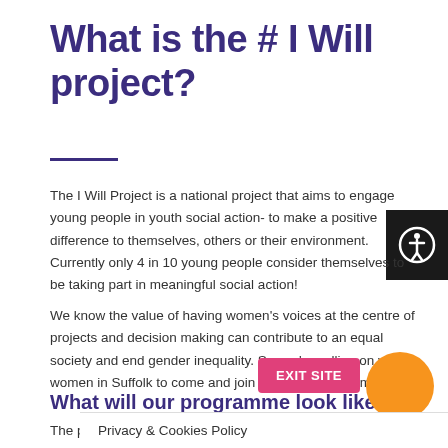What is the # I Will project?
The I Will Project is a national project that aims to engage young people in youth social action- to make a positive difference to themselves, others or their environment. Currently only 4 in 10 young people consider themselves to be taking part in meaningful social action!
We know the value of having women’s voices at the centre of projects and decision making can contribute to an equal society and end gender inequality. So, we’re calling on young women in Suffolk to come and join us on this programme!
What will our programme look like?
The programme will provide young women in Suffolk with a variety of skills needed including